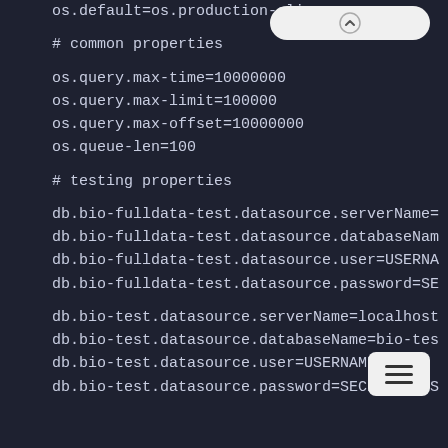os.default=os.production-cli...
# common properties
os.query.max-time=10000000
os.query.max-limit=100000
os.query.max-offset=10000000
os.queue-len=100
# testing properties
db.bio-fulldata-test.datasource.serverName=
db.bio-fulldata-test.datasource.databaseNam
db.bio-fulldata-test.datasource.user=USERNA
db.bio-fulldata-test.datasource.password=SE
db.bio-test.datasource.serverName=localhost
db.bio-test.datasource.databaseName=bio-tes
db.bio-test.datasource.user=USERNAME
db.bio-test.datasource.password=SECRET_PASS